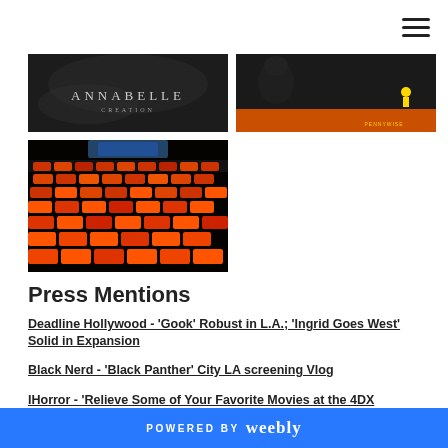[Figure (photo): Annabelle Creation movie poster/promotional image, dark background with text ANNABELLE]
[Figure (photo): IT movie promotional image, dark scene with small yellow-clad figure]
[Figure (photo): Cinema theater interior showing rows of red/orange seats from above]
Press Mentions
Deadline Hollywood - 'Gook' Robust in L.A.; 'Ingrid Goes West' Solid in Expansion
Black Nerd - 'Black Panther' City LA screening Vlog
IHorror - 'Relieve Some of Your Favorite Movies at the 4DX
POWERED BY weebly